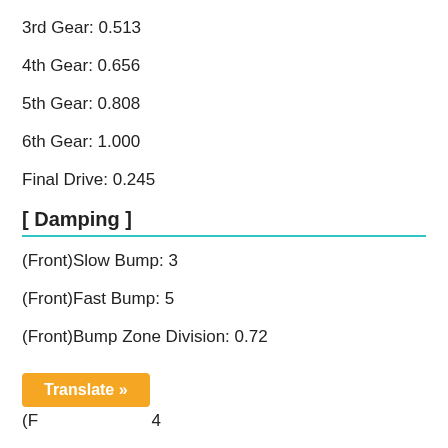3rd Gear: 0.513
4th Gear: 0.656
5th Gear: 0.808
6th Gear: 1.000
Final Drive: 0.245
[ Damping ]
(Front)Slow Bump: 3
(Front)Fast Bump: 5
(Front)Bump Zone Division: 0.72
[Figure (other): Orange 'Translate »' button overlay]
(F... 4